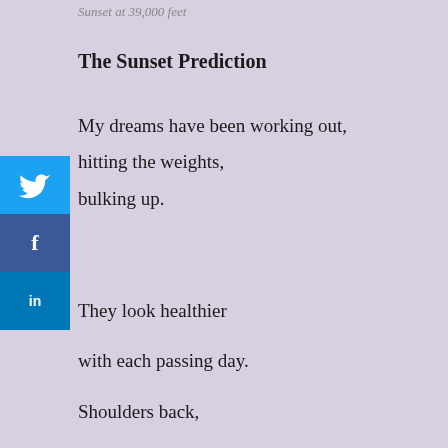Sunset at 39,000 feet
The Sunset Prediction
My dreams have been working out,
hitting the weights,
bulking up.
[Figure (screenshot): Social media share buttons: Twitter (blue bird icon), Facebook (white f on dark blue), LinkedIn (white 'in' on blue)]
They look healthier

with each passing day.

Shoulders back,